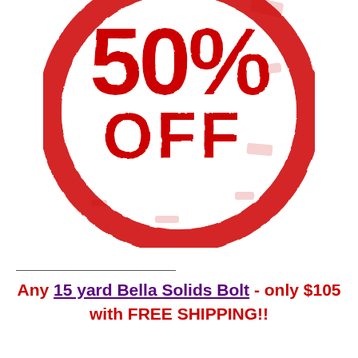[Figure (illustration): Red distressed rubber stamp circle graphic with '50% OFF' text in large bold letters inside]
Any 15 yard Bella Solids Bolt - only $105 with FREE SHIPPING!!